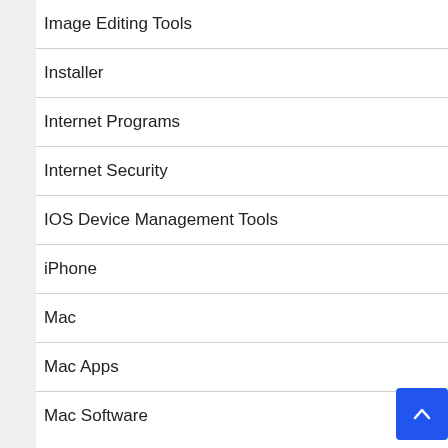Image Editing Tools
Installer
Internet Programs
Internet Security
IOS Device Management Tools
iPhone
Mac
Mac Apps
Mac Software